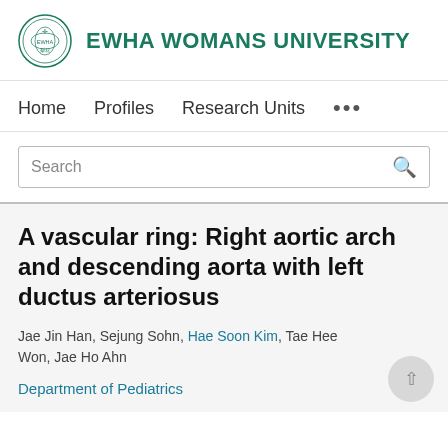EWHA WOMANS UNIVERSITY
Home   Profiles   Research Units   ...
Search
A vascular ring: Right aortic arch and descending aorta with left ductus arteriosus
Jae Jin Han, Sejung Sohn, Hae Soon Kim, Tae Hee Won, Jae Ho Ahn
Department of Pediatrics